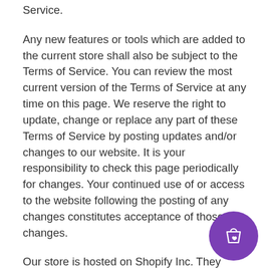Service.
Any new features or tools which are added to the current store shall also be subject to the Terms of Service. You can review the most current version of the Terms of Service at any time on this page. We reserve the right to update, change or replace any part of these Terms of Service by posting updates and/or changes to our website. It is your responsibility to check this page periodically for changes. Your continued use of or access to the website following the posting of any changes constitutes acceptance of those changes.
Our store is hosted on Shopify Inc. They provide us with the online e-commerce platform that allows us to sell our products and services to you.
SECTION 1 - ONLINE STORE TERMS
By agreeing to these Terms of Service, you represent you are at least the age of majority in your state or province of residence, or that you are the age of majority in your state or province of residence and...